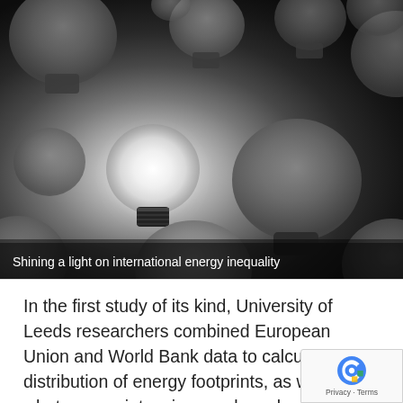[Figure (photo): Black and white photo of multiple light bulbs scattered, with one glowing bulb in the center-left illuminated brightly against the dark background.]
Shining a light on international energy inequality
In the first study of its kind, University of Leeds researchers combined European Union and World Bank data to calculate the distribution of energy footprints, as well as what energy-intensive goods and services different income groups tend to spend their mon
Their study, published in Nature Energy, shows that